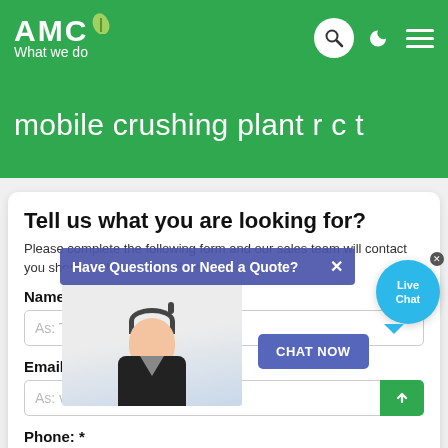AMC What we do
mobile crushing plant r c t
Tell us what you are looking for?
Please complete the following form and our sales team will contact you shortly with our best prices.
Name: *
As: Tom
Email: *
As: vip@shanghaimeilan.com
Phone: *
With Country Code
[Figure (screenshot): Chat popup overlay with text 'Have Questions or Need a Quote?' and a CHAT NOW button, plus a Live Chat bubble icon and a customer service agent photo]
Have Questions or Need a Quote?
CHAT NOW
Live Chat